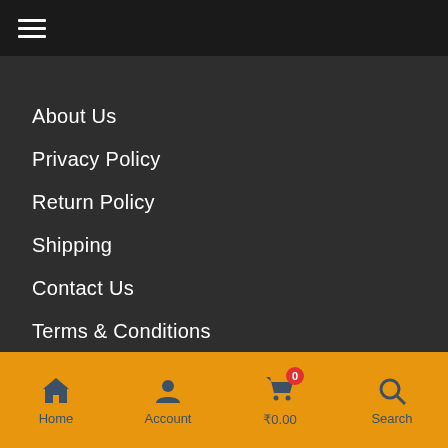≡ (hamburger menu)
About Us
Privacy Policy
Return Policy
Shipping
Contact Us
Terms & Conditions
Home | Account | ₹0.00 (cart, 0 items) | Search